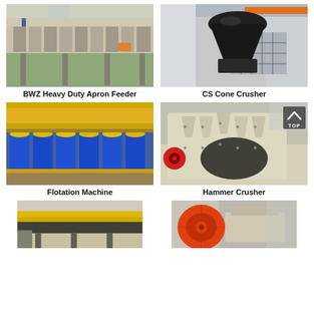[Figure (photo): BWZ Heavy Duty Apron Feeder machine in industrial setting]
BWZ Heavy Duty Apron Feeder
[Figure (photo): CS Cone Crusher large industrial cone crusher in factory]
CS Cone Crusher
[Figure (photo): Flotation Machine with blue machinery and yellow components in industrial plant]
Flotation Machine
[Figure (photo): Hammer Crusher industrial hammer crusher machine close-up]
Hammer Crusher
[Figure (photo): Industrial machine with yellow crane and conveyor in factory]
[Figure (photo): Industrial crusher machine with orange wheel in factory]